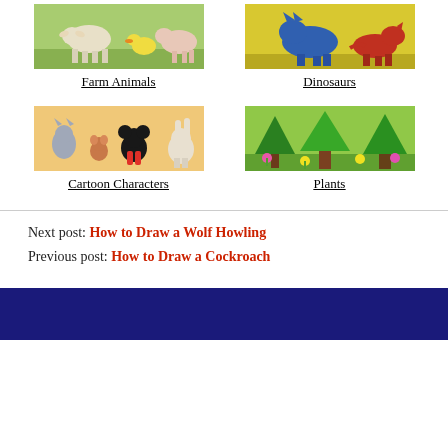[Figure (illustration): Farm animals thumbnail showing goat, duck, and other farm animals on green background]
Farm Animals
[Figure (illustration): Dinosaurs thumbnail showing blue and orange dinosaurs on yellow background]
Dinosaurs
[Figure (illustration): Cartoon Characters thumbnail showing Tom, Jerry, Mickey Mouse, Bugs Bunny on peach background]
Cartoon Characters
[Figure (illustration): Plants thumbnail showing trees and flowers on green background]
Plants
Next post: How to Draw a Wolf Howling
Previous post: How to Draw a Cockroach